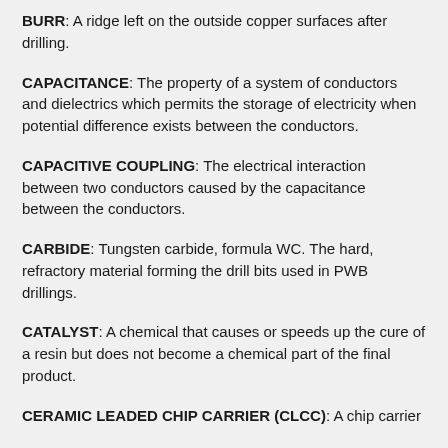BURR: A ridge left on the outside copper surfaces after drilling.
CAPACITANCE: The property of a system of conductors and dielectrics which permits the storage of electricity when potential difference exists between the conductors.
CAPACITIVE COUPLING: The electrical interaction between two conductors caused by the capacitance between the conductors.
CARBIDE: Tungsten carbide, formula WC. The hard, refractory material forming the drill bits used in PWB drillings.
CATALYST: A chemical that causes or speeds up the cure of a resin but does not become a chemical part of the final product.
CERAMIC LEADED CHIP CARRIER (CLCC): A chip carrier